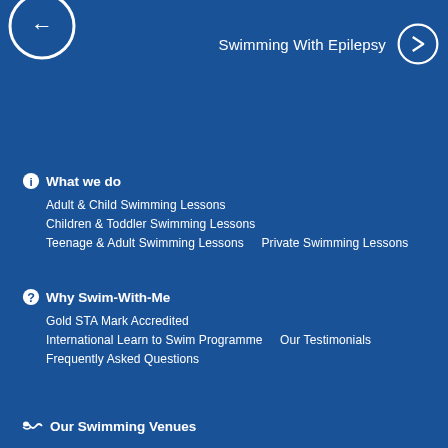[Figure (illustration): Partial circular arrow button (back/left direction) visible in top-left corner, white outline on blue background]
Swimming With Epilepsy →
ℹ What we do
Adult & Child Swimming Lessons
Children & Toddler Swimming Lessons
Teenage & Adult Swimming Lessons    Private Swimming Lessons
? Why Swim-With-Me
Gold STA Mark Accredited
International Learn to Swim Programme    Our Testimonials
Frequently Asked Questions
🏊 Our Swimming Venues